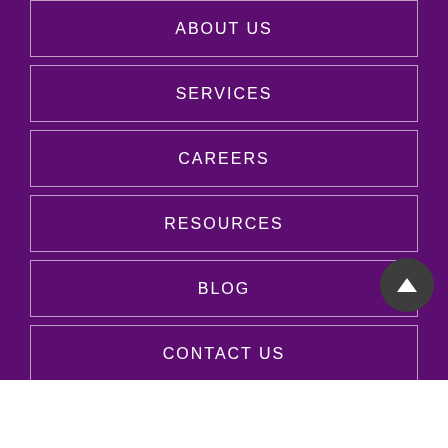ABOUT US
SERVICES
CAREERS
RESOURCES
BLOG
CONTACT US
© Copyright 2022
Absolute Home Health NC
Home Health Care Web Design: Proweaver